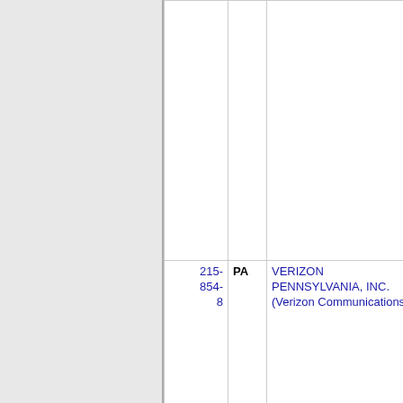| Number | State | Carrier Name | Code |  |
| --- | --- | --- | --- | --- |
| 215-854-8 | PA | VERIZON PENNSYLVANIA, INC. (Verizon Communications) | 9208 | P |
| 215- | PA | VERIZON | 9208 | P |